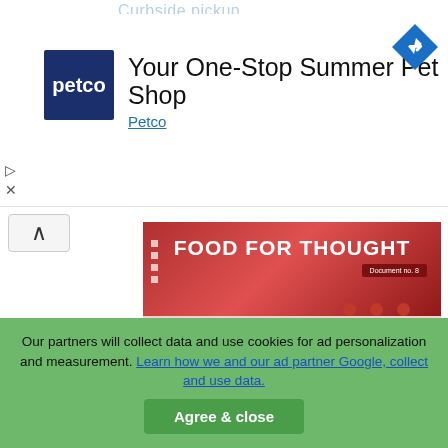Curbside pickup
[Figure (screenshot): Petco advertisement banner: Petco logo (dark blue square with 'petco' text), headline 'Your One-Stop Summer Pet Shop', subtext 'Petco', navigation diamond arrow icon top right, collapse button with up arrow, play/close icons on left side.]
[Figure (illustration): Book cover for 'Food for Thought' series, Document no. 8. Title: 'Career Management Skills'. Subtitle: 'Keys to a Great Career and a Great Life'. Author: Phillip S. Jarvis, National Life/Work Centre. Red gradient header with white bold text 'FOOD FOR THOUGHT', italic bold dark red title below, pinkish-white lower area.]
[Figure (other): Three red dots in a horizontal row, pagination indicator.]
Our partners will collect data and use cookies for ad personalization and measurement. Learn how we and our ad partner Google, collect and use data. Agree & close